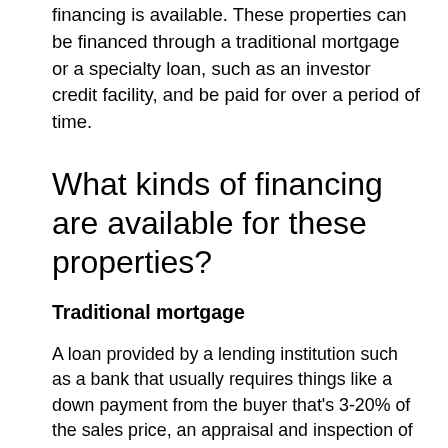financing is available. These properties can be financed through a traditional mortgage or a specialty loan, such as an investor credit facility, and be paid for over a period of time.
What kinds of financing are available for these properties?
Traditional mortgage
A loan provided by a lending institution such as a bank that usually requires things like a down payment from the buyer that's 3-20% of the sales price, an appraisal and inspection of the property, and that the buyer has a good credit score. Traditional finance options include fixed-rate, adjustable-rate, conforming (FHFA), non-conforming, and government-issued (FHA, USDA, VA) loans.